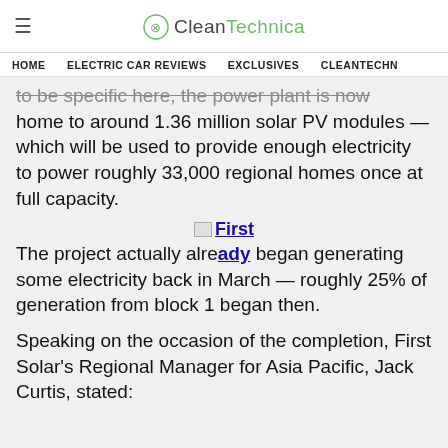CleanTechnica
HOME | ELECTRIC CAR REVIEWS | EXCLUSIVES | CLEANTECHN
to be specific here, the power plant is now home to around 1.36 million solar PV modules — which will be used to provide enough electricity to power roughly 33,000 regional homes once at full capacity.
[Figure (other): Partial image/link placeholder labeled 'First']
The project actually already began generating some electricity back in March — roughly 25% of generation from block 1 began then.
Speaking on the occasion of the completion, First Solar's Regional Manager for Asia Pacific, Jack Curtis, stated: